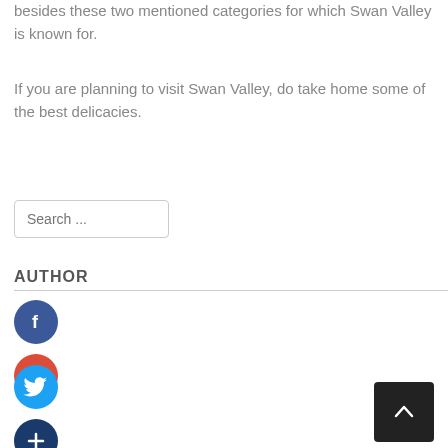besides these two mentioned categories for which Swan Valley is known for.
If you are planning to visit Swan Valley, do take home some of the best delicacies.
Search ...
AUTHOR
[Figure (other): Facebook social share icon - blue circle with white letter f]
[Figure (other): Google Plus social share icon - red circle with white g+]
[Figure (other): Twitter social share icon - blue circle with white bird]
[Figure (other): Additional share icon - dark blue circle with white plus sign]
[Figure (other): Back to top button - dark square with white upward chevron]